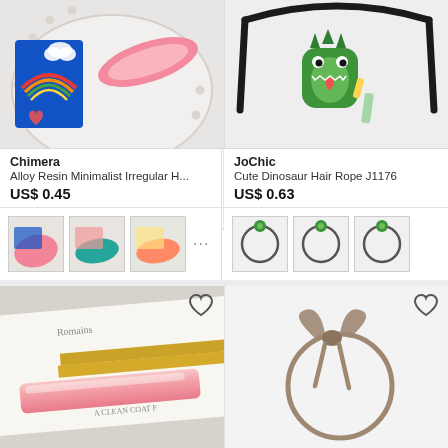[Figure (photo): Pink hair clip on decorative plate with colorful sticker card (left product image)]
[Figure (photo): Green dinosaur hair rope/charm on black elastic band (right product image)]
Chimera
Alloy Resin Minimalist Irregular H...
US$ 0.45
JoChic
Cute Dinosaur Hair Rope J1176
US$ 0.63
[Figure (photo): Three color variant thumbnail images of alloy resin hair clips plus more dots indicator]
[Figure (photo): Three thumbnail images of dinosaur hair rope variants]
[Figure (photo): Pink acrylic hair clip on gold frame with white background product photo]
[Figure (photo): Brown/taupe elastic hair tie in circular bow shape on white background]